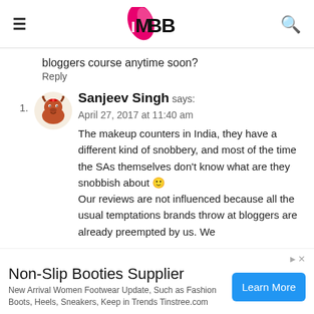IMBB (logo)
bloggers course anytime soon?
Reply
Sanjeev Singh says:
April 27, 2017 at 11:40 am
The makeup counters in India, they have a different kind of snobbery, and most of the time the SAs themselves don't know what are they snobbish about 🙂
Our reviews are not influenced because all the usual temptations brands throw at bloggers are already preempted by us. We
Non-Slip Booties Supplier
New Arrival Women Footwear Update, Such as Fashion Boots, Heels, Sneakers, Keep in Trends Tinstree.com
Learn More